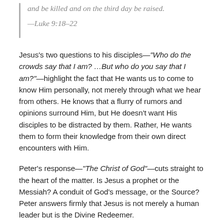and be killed and on the third day be raised.
—Luke 9:18–22
Jesus's two questions to his disciples—"Who do the crowds say that I am? …But who do you say that I am?"—highlight the fact that He wants us to come to know Him personally, not merely through what we hear from others. He knows that a flurry of rumors and opinions surround Him, but He doesn't want His disciples to be distracted by them. Rather, He wants them to form their knowledge from their own direct encounters with Him.
Peter's response—"The Christ of God"—cuts straight to the heart of the matter. Is Jesus a prophet or the Messiah? A conduit of God's message, or the Source? Peter answers firmly that Jesus is not merely a human leader but is the Divine Redeemer.